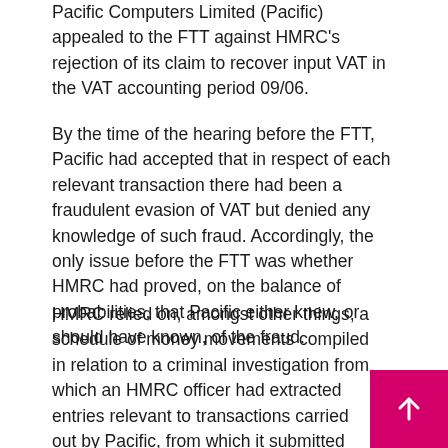Pacific Computers Limited (Pacific) appealed to the FTT against HMRC's rejection of its claim to recover input VAT in the VAT accounting period 09/06.
By the time of the hearing before the FTT, Pacific had accepted that in respect of each relevant transaction there had been a fraudulent evasion of VAT but denied any knowledge of such fraud. Accordingly, the only issue before the FTT was whether HMRC had proved, on the balance of probabilities, that Pacific either knew, or should have known, of the fraud.
HMRC relied on, amongst other things, a schedule of money movements compiled in relation to a criminal investigation from which an HMRC officer had extracted entries relevant to transactions carried out by Pacific, from which it submitted that knowledge could be inferred. Pacific did not challenge this evidence.